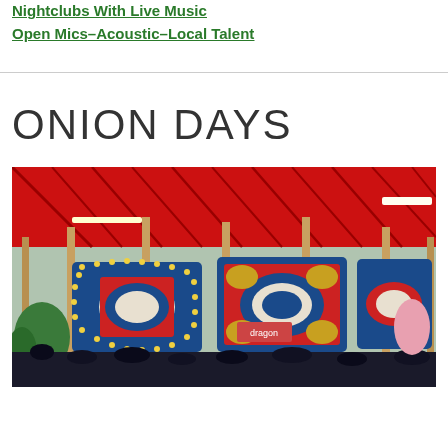Nightclubs With Live Music
Open Mics–Acoustic–Local Talent
ONION DAYS
[Figure (photo): A colorful carousel/merry-go-round with red canopy roof and ornate blue and yellow decorated panels, with poles and lights visible at a fairground.]